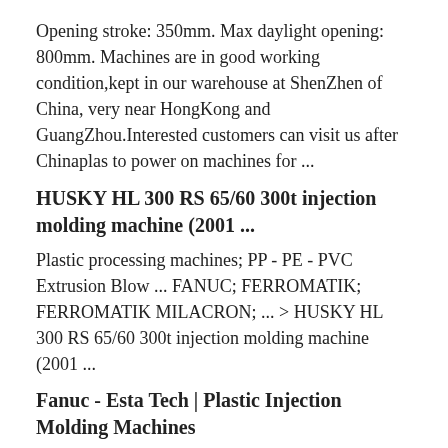Opening stroke: 350mm. Max daylight opening: 800mm. Machines are in good working condition,kept in our warehouse at ShenZhen of China, very near HongKong and GuangZhou.Interested customers can visit us after Chinaplas to power on machines for ...
HUSKY HL 300 RS 65/60 300t injection molding machine (2001 ...
Plastic processing machines; PP - PE - PVC Extrusion Blow ... FANUC; FERROMATIK; FERROMATIK MILACRON; ... > HUSKY HL 300 RS 65/60 300t injection molding machine (2001 ...
Fanuc - Esta Tech | Plastic Injection Molding Machines
FANUC Roboshot S-2000 i250B, i300B (YR 2012, 2013) USED ALL ELECTRIC PLASTIC INJECTION MOULDING MACHINES FOR SALE Clean Room Condition FANUC Roboshot S-2000iB (YR 2012)